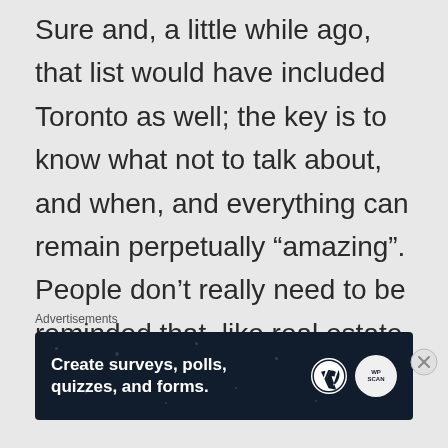Sure and, a little while ago, that list would have included Toronto as well; the key is to know what not to talk about, and when, and everything can remain perpetually “amazing”. People don't really need to be reminded that, like real estate, whisky is
Advertisements
[Figure (other): Advertisement banner for WordPress with text 'Create surveys, polls, quizzes, and forms.' showing WordPress and WPScan logos on dark navy background]